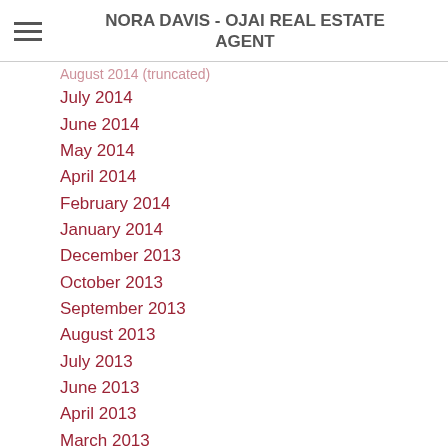NORA DAVIS - OJAI REAL ESTATE AGENT
July 2014
June 2014
May 2014
April 2014
February 2014
January 2014
December 2013
October 2013
September 2013
August 2013
July 2013
June 2013
April 2013
March 2013
February 2013
January 2013
November 2012